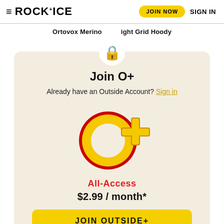ROCK+ICE | JOIN NOW | SIGN IN
Ortovox Merino ... ight Grid Hoody
Join O+
Already have an Outside Account? Sign in
[Figure (logo): O+ All-Access logo: large yellow letter O with red outline, gold plus sign]
All-Access
$2.99 / month*
JOIN OUTSIDE+